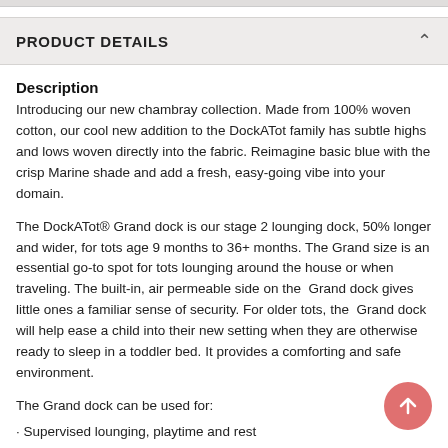PRODUCT DETAILS
Description
Introducing our new chambray collection. Made from 100% woven cotton, our cool new addition to the DockATot family has subtle highs and lows woven directly into the fabric. Reimagine basic blue with the crisp Marine shade and add a fresh, easy-going vibe into your domain.
The DockATot® Grand dock is our stage 2 lounging dock, 50% longer and wider, for tots age 9 months to 36+ months. The Grand size is an essential go-to spot for tots lounging around the house or when traveling. The built-in, air permeable side on the Grand dock gives little ones a familiar sense of security. For older tots, the Grand dock will help ease a child into their new setting when they are otherwise ready to sleep in a toddler bed. It provides a comforting and safe environment.
The Grand dock can be used for:
· Supervised lounging, playtime and rest
· Enables baby movement and supports tummy time
· Safe spot for baby massages
· Convenient place for quick diaper/nappy changes